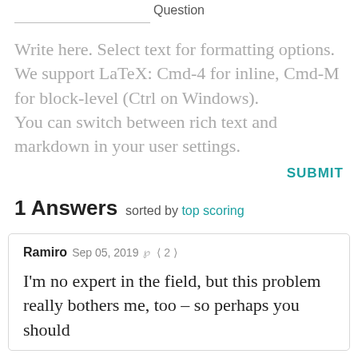Question
Write here. Select text for formatting options. We support LaTeX: Cmd-4 for inline, Cmd-M for block-level (Ctrl on Windows). You can switch between rich text and markdown in your user settings.
SUBMIT
1 Answers sorted by top scoring
Ramiro Sep 05, 2019 ℔ < 2 >
I'm no expert in the field, but this problem really bothers me, too – so perhaps you should